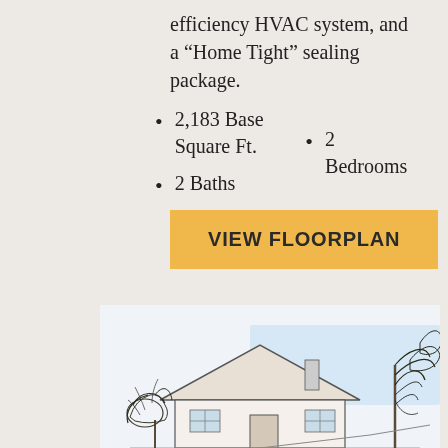efficiency HVAC system, and a “Home Tight” sealing package.
2,183 Base Square Ft.
2 Bedrooms
2 Baths
VIEW FLOORPLAN
[Figure (illustration): Illustrated exterior view of a house with trees, showing a roof line and landscaping in a sketch/watercolor style.]